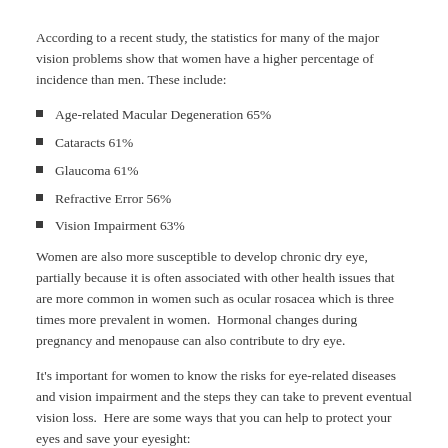According to a recent study, the statistics for many of the major vision problems show that women have a higher percentage of incidence than men. These include:
Age-related Macular Degeneration 65%
Cataracts 61%
Glaucoma 61%
Refractive Error 56%
Vision Impairment 63%
Women are also more susceptible to develop chronic dry eye, partially because it is often associated with other health issues that are more common in women such as ocular rosacea which is three times more prevalent in women.  Hormonal changes during pregnancy and menopause can also contribute to dry eye.
It's important for women to know the risks for eye-related diseases and vision impairment and the steps they can take to prevent eventual vision loss.  Here are some ways that you can help to protect your eyes and save your eyesight: